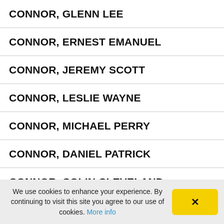CONNOR, GLENN LEE
CONNOR, ERNEST EMANUEL
CONNOR, JEREMY SCOTT
CONNOR, LESLIE WAYNE
CONNOR, MICHAEL PERRY
CONNOR, DANIEL PATRICK
CONNOR, COLIN CLEVELAND
CONNOR, CYNTHIA
We use cookies to enhance your experience. By continuing to visit this site you agree to our use of cookies. More info